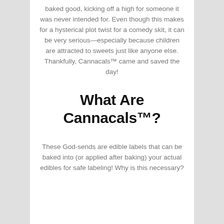baked good, kicking off a high for someone it was never intended for. Even though this makes for a hysterical plot twist for a comedy skit, it can be very serious—especially because children are attracted to sweets just like anyone else. Thankfully, Cannacals™ came and saved the day!
What Are Cannacals™?
These God-sends are edible labels that can be baked into (or applied after baking) your actual edibles for safe labeling! Why is this necessary?